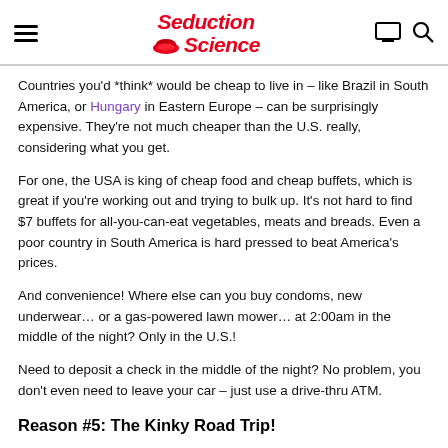Seduction Science [logo with hamburger, monitor, and search icons]
Countries you'd *think* would be cheap to live in – like Brazil in South America, or Hungary in Eastern Europe – can be surprisingly expensive.  They're not much cheaper than the U.S. really, considering what you get.
For one, the USA is king of cheap food and cheap buffets, which is great if you're working out and trying to bulk up.  It's not hard to find $7 buffets for all-you-can-eat vegetables, meats and breads.  Even a poor country in South America is hard pressed to beat America's prices.
And convenience!  Where else can you buy condoms, new underwear… or a gas-powered lawn mower… at 2:00am in the middle of the night?  Only in the U.S.!
Need to deposit a check in the middle of the night?  No problem, you don't even need to leave your car – just use a drive-thru ATM.
Reason #5: The Kinky Road Trip!